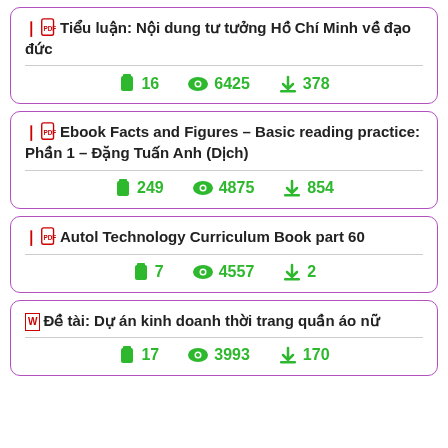Tiểu luận: Nội dung tư tưởng Hồ Chí Minh về đạo đức | 16 pages | 6425 views | 378 downloads
Ebook Facts and Figures – Basic reading practice: Phần 1 – Đặng Tuấn Anh (Dịch) | 249 pages | 4875 views | 854 downloads
Autol Technology Curriculum Book part 60 | 7 pages | 4557 views | 2 downloads
Đề tài: Dự án kinh doanh thời trang quần áo nữ | 17 pages | 3993 views | 170 downloads